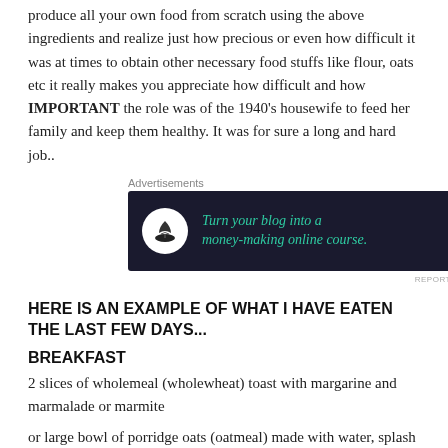produce all your own food from scratch using the above ingredients and realize just how precious or even how difficult it was at times to obtain other necessary food stuffs like flour, oats etc it really makes you appreciate how difficult and how IMPORTANT the role was of the 1940's housewife to feed her family and keep them healthy. It was for sure a long and hard job..
[Figure (other): Advertisement banner: dark navy background with a bonsai tree icon and teal italic text reading 'Turn your blog into a money-making online course.' with a white arrow on the right.]
REPORT THIS AD
HERE IS AN EXAMPLE OF WHAT I HAVE EATEN THE LAST FEW DAYS...
BREAKFAST
2 slices of wholemeal (wholewheat) toast with margarine and marmalade or marmite
or large bowl of porridge oats (oatmeal) made with water, splash of milk and a little sugar or honey mixed in.